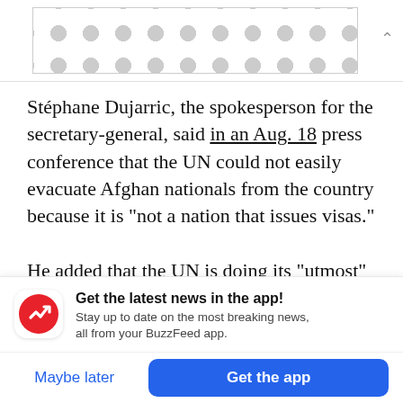[Figure (other): Advertisement banner with a repeating dot/circle pattern on a light gray background]
Stéphane Dujarric, the spokesperson for the secretary-general, said in an Aug. 18 press conference that the UN could not easily evacuate Afghan nationals from the country because it is “not a nation that issues visas.”

He added that the UN is doing its “utmost” for national staff and their families. “There are all sorts
[Figure (logo): BuzzFeed News app notification prompt with red circular logo featuring white arrow icon, bold title 'Get the latest news in the app!', subtitle text, and two action buttons: 'Maybe later' and 'Get the app']